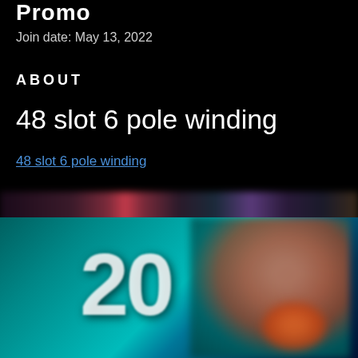Promo
Join date: May 13, 2022
ABOUT
48 slot 6 pole winding
48 slot 6 pole winding
[Figure (photo): Blurred promotional image with large number 20 on a teal background, with a blurred person's face on the right side]